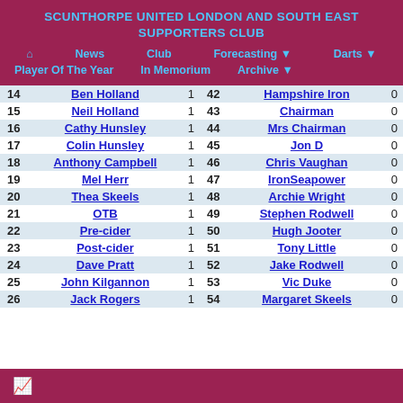SCUNTHORPE UNITED LONDON AND SOUTH EAST SUPPORTERS CLUB
Home | News | Club | Forecasting | Darts | Player Of The Year | In Memorium | Archive
| # | Name | Score |
| --- | --- | --- |
| 14 | Ben Holland | 1 |
| 15 | Neil Holland | 1 |
| 16 | Cathy Hunsley | 1 |
| 17 | Colin Hunsley | 1 |
| 18 | Anthony Campbell | 1 |
| 19 | Mel Herr | 1 |
| 20 | Thea Skeels | 1 |
| 21 | OTB | 1 |
| 22 | Pre-cider | 1 |
| 23 | Post-cider | 1 |
| 24 | Dave Pratt | 1 |
| 25 | John Kilgannon | 1 |
| 26 | Jack Rogers | 1 |
| # | Name | Score |
| --- | --- | --- |
| 42 | Hampshire Iron | 0 |
| 43 | Chairman | 0 |
| 44 | Mrs Chairman | 0 |
| 45 | Jon D | 0 |
| 46 | Chris Vaughan | 0 |
| 47 | IronSeapower | 0 |
| 48 | Archie Wright | 0 |
| 49 | Stephen Rodwell | 0 |
| 50 | Hugh Jooter | 0 |
| 51 | Tony Little | 0 |
| 52 | Jake Rodwell | 0 |
| 53 | Vic Duke | 0 |
| 54 | Margaret Skeels | 0 |